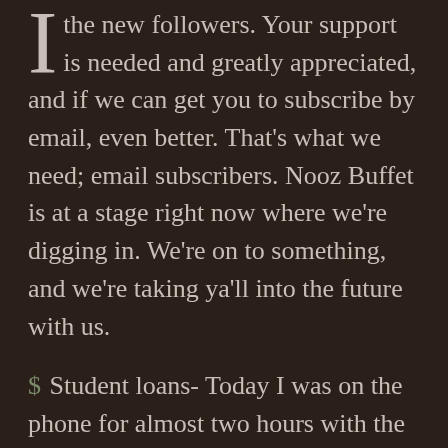the new followers. Your support is needed and greatly appreciated, and if we can get you to subscribe by email, even better. That's what we need; email subscribers. Nooz Buffet is at a stage right now where we're digging in. We're on to something, and we're taking ya'll into the future with us.
Student loans- Today I was on the phone for almost two hours with the company holding my student loan. I wanted to know why my account was accruing interest when I've been actively making regularly scheduled payments, and I never put my loan in deferment or postponed payments. By the end of the conversation I found out the loan was split into